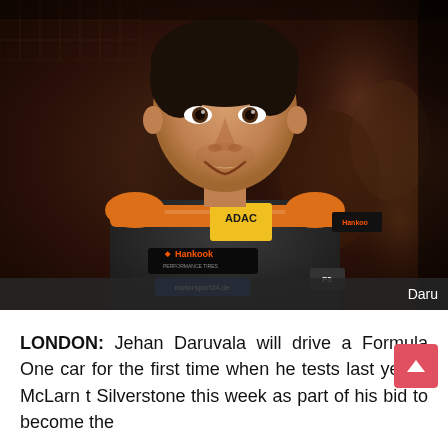[Figure (photo): Young Indian racing driver Jehan Daruvala posed smiling in a dark grey racing suit with ADAC yellow patch, Hankook sponsor logo, orange stripes, against a dark sculptural background]
Daru
LONDON: Jehan Daruvala will drive a Formula One car for the first time when he tests last year's McLaren t Silverstone this week as part of his bid to become the